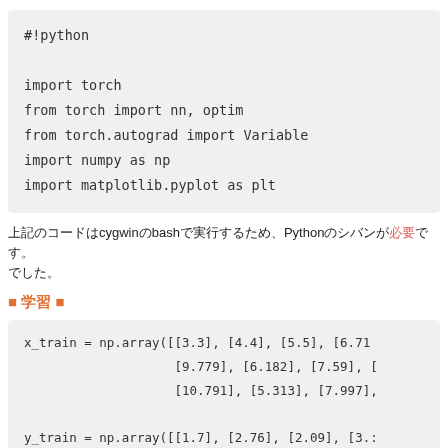#!python

import torch
from torch import nn, optim
from torch.autograd import Variable
import numpy as np
import matplotlib.pyplot as plt
上記のコードはcygwinのbashで実行するため、Pythonのシバンが必要です。
■ 学習 ■
x_train = np.array([[3.3], [4.4], [5.5], [6.71
                    [9.779], [6.182], [7.59], [
                    [10.791], [5.313], [7.997],

y_train = np.array([[1.7], [2.76], [2.09], [3.:
                    [3.366], [2.596], [2.53], [